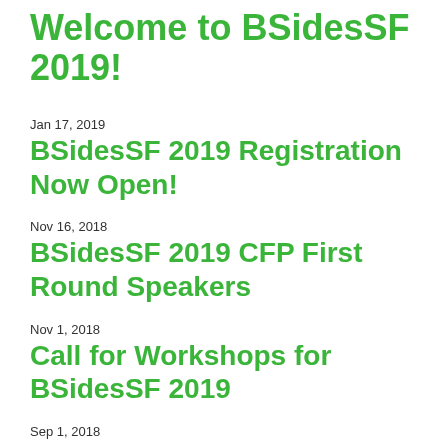Welcome to BSidesSF 2019!
Jan 17, 2019
BSidesSF 2019 Registration Now Open!
Nov 16, 2018
BSidesSF 2019 CFP First Round Speakers
Nov 1, 2018
Call for Workshops for BSidesSF 2019
Sep 1, 2018